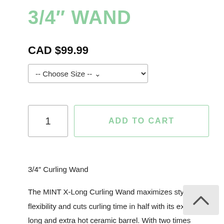3/4″ WAND
CAD $99.99
-- Choose Size --
1   ADD TO CART
3/4″ Curling Wand
The MINT X-Long Curling Wand maximizes style flexibility and cuts curling time in half with its extra-long and extra hot ceramic barrel. With two times the number heating elements (vs most other pro tools the market), you’ll maintain a consistently perfect